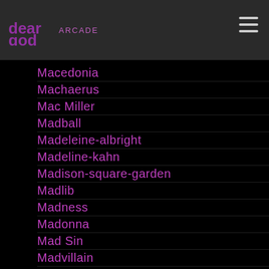dear god | arcade
Macedonia
Machaerus
Mac Miller
Madball
Madeleine-albright
Madeline-kahn
Madison-square-garden
Madlib
Madness
Madonna
Mad Sin
Madvillain
Magie Serpica
Mahalia Jackson
Mahayana Buddhism
Main Source
Make Her Space